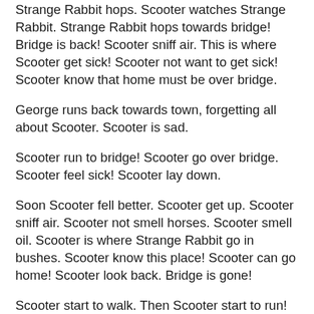Strange Rabbit hops. Scooter watches Strange Rabbit. Strange Rabbit hops towards bridge! Bridge is back! Scooter sniff air. This is where Scooter get sick! Scooter not want to get sick! Scooter know that home must be over bridge.
George runs back towards town, forgetting all about Scooter. Scooter is sad.
Scooter run to bridge! Scooter go over bridge. Scooter feel sick! Scooter lay down.
Soon Scooter fell better. Scooter get up. Scooter sniff air. Scooter not smell horses. Scooter smell oil. Scooter is where Strange Rabbit go in bushes. Scooter know this place! Scooter can go home! Scooter look back. Bridge is gone!
Scooter start to walk. Then Scooter start to run! Scooter run and run and run! Scooter does not stop to pee! Scooter does not stop to chase cat. Scooter does not stop to chase The Squirrel. Scooter run home!
Scooter get home. Scooter is very tired. Scooter is very thirsty! Scooter